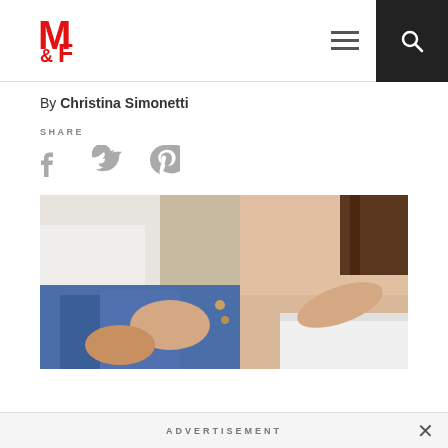M&F logo header with navigation
By Christina Simonetti
SHARE
Social share icons: Facebook, Twitter, Pinterest
[Figure (photo): Close-up photo of two people, one unbuttoning jeans of the other who is wearing white underwear]
ADVERTISEMENT